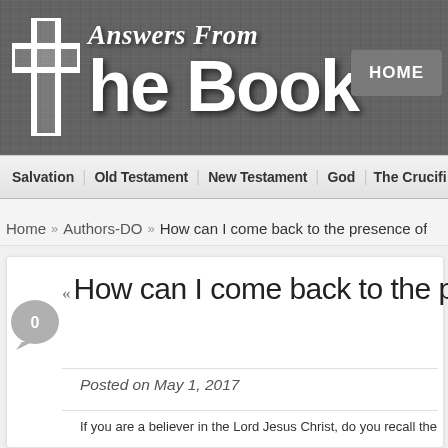[Figure (logo): Answers From The Book website logo on dark wood-textured background with cross icon]
HOME
Salvation  Old Testament  New Testament  God  The Crucifi...
Home » Authors-DO » How can I come back to the presence of
How can I come back to the presen
Posted on May 1, 2017
If you are a believer in the Lord Jesus Christ, do you recall the FIRST TIM…